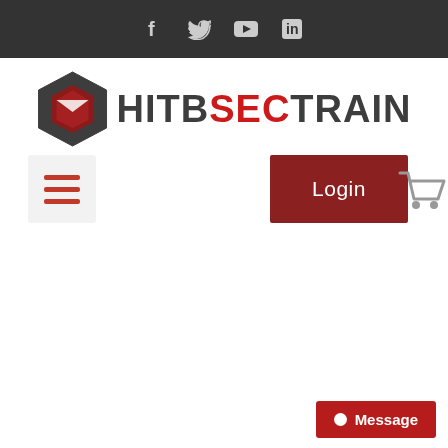[Figure (screenshot): Dark top navigation bar with social media icons: Facebook (f), Twitter (bird), YouTube (play), LinkedIn (in)]
[Figure (logo): HITBSECTRAIN logo with hexagon icon containing a red book/envelope shape and text HITBSECTRAIN where HITB and TRAIN are dark gray and SEC is red]
[Figure (screenshot): Navigation area with hamburger menu button (three red horizontal lines on light gray background), a dark red Login button, and a gray shopping cart icon]
[Figure (screenshot): Red Message button with white dot icon in bottom right corner]